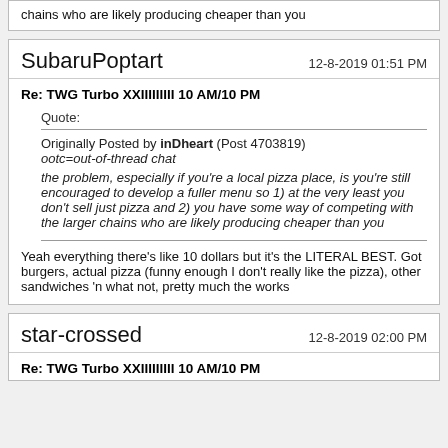chains who are likely producing cheaper than you
SubaruPoptart   12-8-2019 01:51 PM
Re: TWG Turbo XXIIIIIIIII 10 AM/10 PM
Quote:
Originally Posted by inDheart (Post 4703819)
ootc=out-of-thread chat
the problem, especially if you're a local pizza place, is you're still encouraged to develop a fuller menu so 1) at the very least you don't sell just pizza and 2) you have some way of competing with the larger chains who are likely producing cheaper than you
Yeah everything there's like 10 dollars but it's the LITERAL BEST. Got burgers, actual pizza (funny enough I don't really like the pizza), other sandwiches 'n what not, pretty much the works
star-crossed   12-8-2019 02:00 PM
Re: TWG Turbo XXIIIIIIIII 10 AM/10 PM